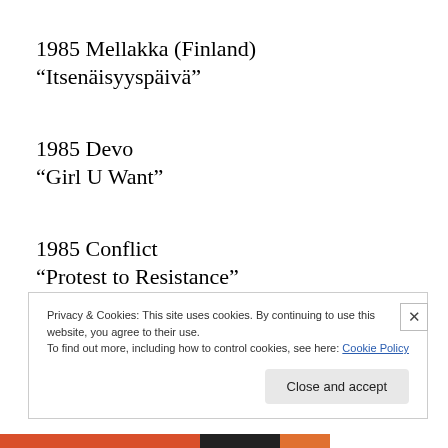1985 Mellakka (Finland)
“Itsenäisyyspäivä”
1985 Devo
“Girl U Want”
1985 Conflict
“Protest to Resistance”
Privacy & Cookies: This site uses cookies. By continuing to use this website, you agree to their use.
To find out more, including how to control cookies, see here: Cookie Policy